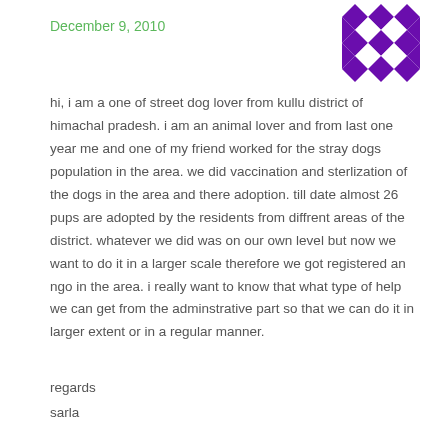December 9, 2010
[Figure (illustration): Purple geometric diamond/square pattern avatar icon]
hi, i am a one of street dog lover from kullu district of himachal pradesh. i am an animal lover and from last one year me and one of my friend worked for the stray dogs population in the area. we did vaccination and sterlization of the dogs in the area and there adoption. till date almost 26 pups are adopted by the residents from diffrent areas of the district. whatever we did was on our own level but now we want to do it in a larger scale therefore we got registered an ngo in the area. i really want to know that what type of help we can get from the adminstrative part so that we can do it in larger extent or in a regular manner.
regards
sarla